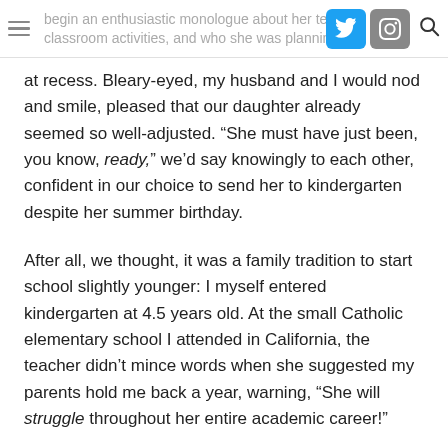begin an enthusiastic monologue about her teacher, the classroom activities, and who she was planning to play with
at recess. Bleary-eyed, my husband and I would nod and smile, pleased that our daughter already seemed so well-adjusted. “She must have just been, you know, ready,” we’d say knowingly to each other, confident in our choice to send her to kindergarten despite her summer birthday.
After all, we thought, it was a family tradition to start school slightly younger: I myself entered kindergarten at 4.5 years old. At the small Catholic elementary school I attended in California, the teacher didn’t mince words when she suggested my parents hold me back a year, warning, “She will struggle throughout her entire academic career!”
My mom didn’t flinch, but I can see why the teacher was